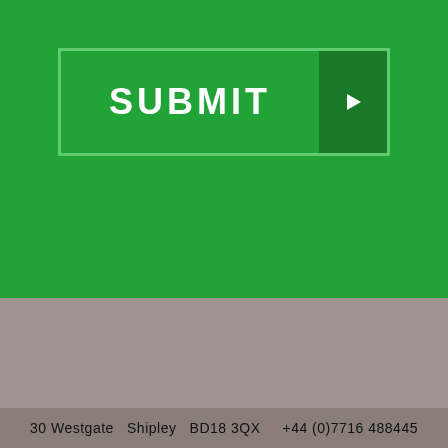[Figure (screenshot): Green SUBMIT button bar with arrow icon on right]
[Figure (infographic): Social media icons: Facebook (f), Twitter (bird), Vimeo (V)]
SITEMAP
ACCESSIBILITY
TERMS & CONDITIONS
PRIVACY POLICY
LOG IN
BASKET: (0 ITEMS)
30 Westgate  Shipley  BD18 3QX    +44 (0)7716 488445